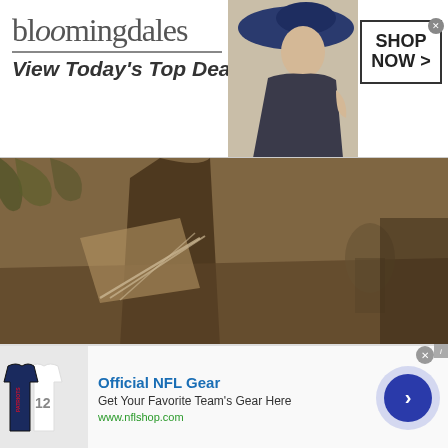[Figure (other): Bloomingdales advertisement banner with logo, 'View Today's Top Deals!' tagline, model in wide-brim hat, and 'SHOP NOW >' button]
[Figure (photo): Sepia-toned photograph of a person in a dark robe or coat working at a table with foliage visible in background, historical artistic setting]
GUGGENHEIM PRESENTS FIRST HILMA AF KLINT SOLO EXHIBITION IN UNITED STATES
[Figure (other): Official NFL Gear advertisement with jersey image, text 'Get Your Favorite Team’s Gear Here', URL www.nflshop.com, and circular arrow button]